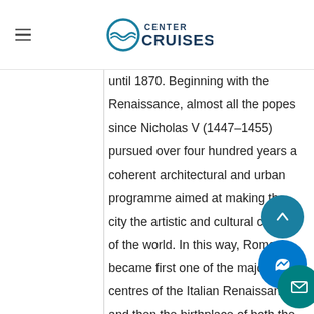Center Cruises
until 1870. Beginning with the Renaissance, almost all the popes since Nicholas V (1447–1455) pursued over four hundred years a coherent architectural and urban programme aimed at making the city the artistic and cultural centre of the world. In this way, Rome became first one of the major centres of the Italian Renaissance, and then the birthplace of both the Baroque style and Neoclassicism. Famous artists, painters, sculptors and architects made Rome the … of their activity, creating masterpieces throughout the city. In 1871, Rome became capital of the Kingdom of Italy, which, in 1946, became the Italian Republic.